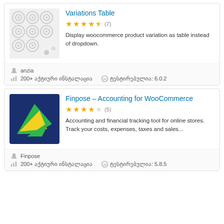Variations Table
Display woocommerce product variation as table instead of dropdown.
anzia
200+ აქტიური ინსტალაცია  ტესტირებულია: 6.0.2
Finpose – Accounting for WooCommerce
Accounting and financial tracking tool for online stores. Track your costs, expenses, taxes and sales...
Finpose
200+ აქტიური ინსტალაცია  ტესტირებულია: 5.8.5